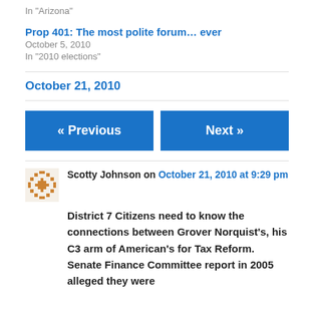In "Arizona"
Prop 401: The most polite forum… ever
October 5, 2010
In "2010 elections"
October 21, 2010
« Previous
Next »
Scotty Johnson on October 21, 2010 at 9:29 pm
District 7 Citizens need to know the connections between Grover Norquist's, his C3 arm of American's for Tax Reform.  Senate Finance Committee report in 2005 alleged they were